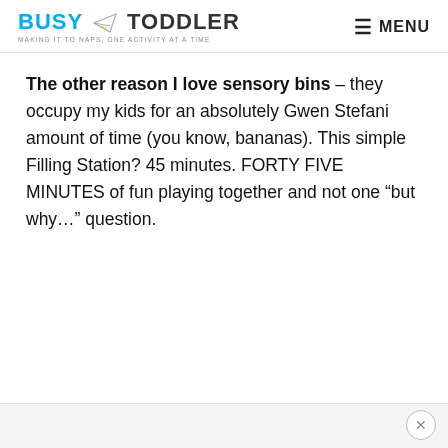BUSY TODDLER — MAKING IT TO NAPS, ONE ACTIVITY AT A TIME | MENU
The other reason I love sensory bins – they occupy my kids for an absolutely Gwen Stefani amount of time (you know, bananas). This simple Filling Station? 45 minutes. FORTY FIVE MINUTES of fun playing together and not one “but why…” question.